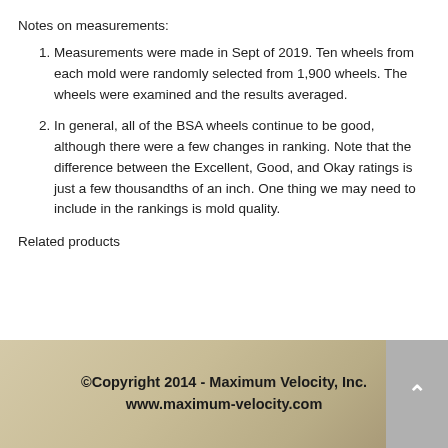Notes on measurements:
Measurements were made in Sept of 2019. Ten wheels from each mold were randomly selected from 1,900 wheels. The wheels were examined and the results averaged.
In general, all of the BSA wheels continue to be good, although there were a few changes in ranking. Note that the difference between the Excellent, Good, and Okay ratings is just a few thousandths of an inch. One thing we may need to include in the rankings is mold quality.
Related products
[Figure (photo): Copyright footer image showing '©Copyright 2014 - Maximum Velocity, Inc. www.maximum-velocity.com' on a tan/beige background with a scroll-to-top button on the right.]